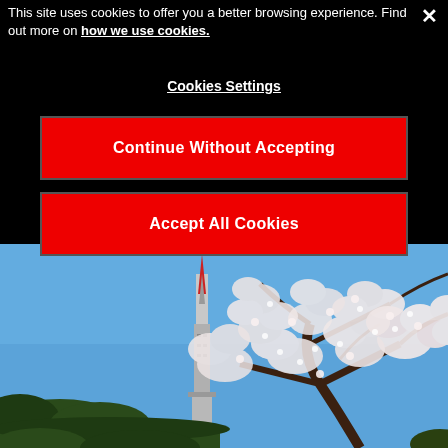This site uses cookies to offer you a better browsing experience. Find out more on how we use cookies.
Cookies Settings
Continue Without Accepting
Accept All Cookies
[Figure (photo): Photograph of cherry blossom trees in full bloom with white flowers against a bright blue sky, and a tall tower (resembling NTT Docomo Yoyogi Building or similar spire) visible in the background among the trees. Green trees visible in the lower left.]